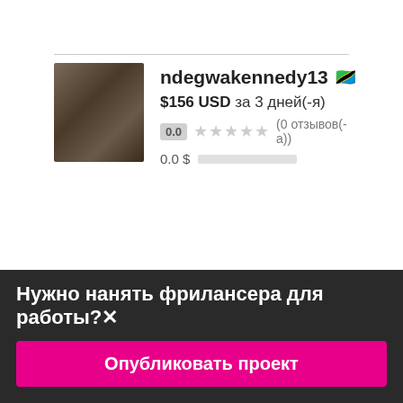[Figure (photo): Profile photo of ndegwakennedy13, African male in light shirt]
ndegwakennedy13 🇹🇿
$156 USD за 3 дней(-я)
0.0 ★★★★★ (0 отзывов(-а))
0.0 $ ##########
[Figure (photo): Profile photo of Gerevean, African male]
Gerevean 🇹🇿
$35 USD за 1 день
Нужно нанять фрилансера для работы?✕
Опубликовать проект